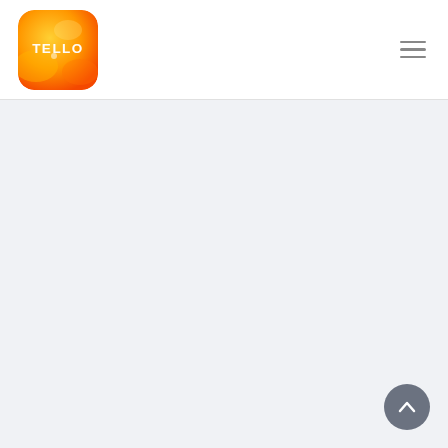[Figure (logo): Tello app logo — rounded square with orange-yellow gradient background and white 'TELLO' text]
[Figure (other): Hamburger menu icon — three horizontal gray lines stacked vertically]
[Figure (other): Scroll-to-top button — dark gray circle with white upward-pointing chevron arrow]